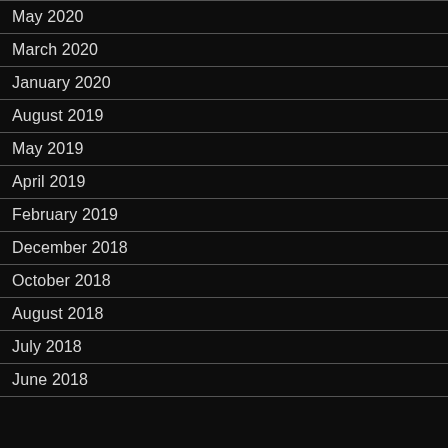May 2020
March 2020
January 2020
August 2019
May 2019
April 2019
February 2019
December 2018
October 2018
August 2018
July 2018
June 2018